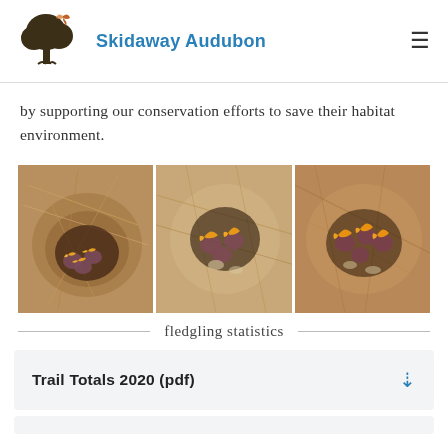Skidaway Audubon
by supporting our conservation efforts to save their habitat environment.
[Figure (photo): Three panels showing baby birds (nestlings) with open beaks in grass/straw nests, photographed from above.]
fledgling statistics
Trail Totals 2020 (pdf)